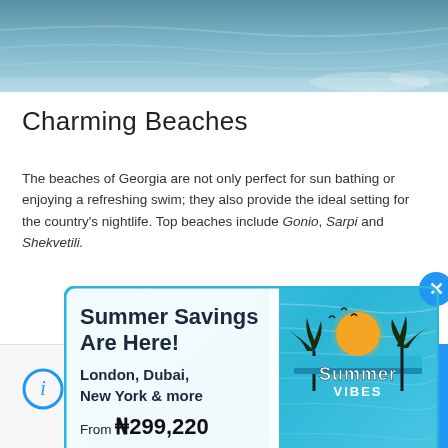[Figure (photo): Aerial view of ocean water, blue-green waves]
Charming Beaches
The beaches of Georgia are not only perfect for sun bathing or enjoying a refreshing swim; they also provide the ideal setting for the country's nightlife. Top beaches include Gonio, Sarpi and Shekvetili.
[Figure (infographic): Popup advertisement: Summer Savings Are Here! London, Dubai, New York & more. From ₦299,220. Book Now. Features Summer Vibes logo with palm trees and sun, and a baby lying on a red float ring in a swimming pool.]
Essential details you need to know before your trip